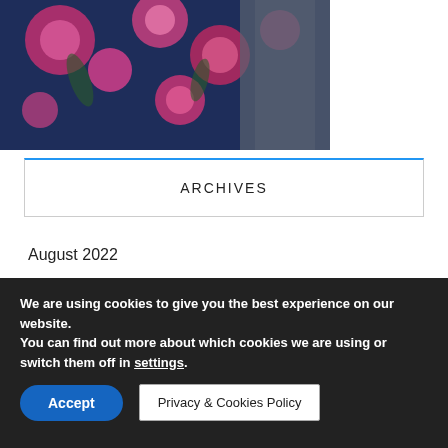[Figure (photo): Partial photo of a person wearing a floral (pink/white flowers on dark blue/navy) top with a gray bag strap visible]
ARCHIVES
August 2022
July 2022
June 2022
We are using cookies to give you the best experience on our website.
You can find out more about which cookies we are using or switch them off in settings.
Accept
Privacy & Cookies Policy